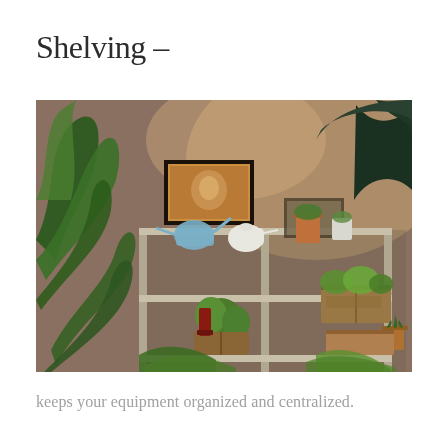Shelving –
[Figure (photo): A photograph of a metal shelving unit against a warm brown wall, decorated with various houseplants including large leafy plants, succulents, and a cactus. Items on the shelves include a white teapot, a blue watering can, terracotta and white plant pots, wooden crates, and a small framed painting on the wall above.]
keeps your equipment organized and centralized.